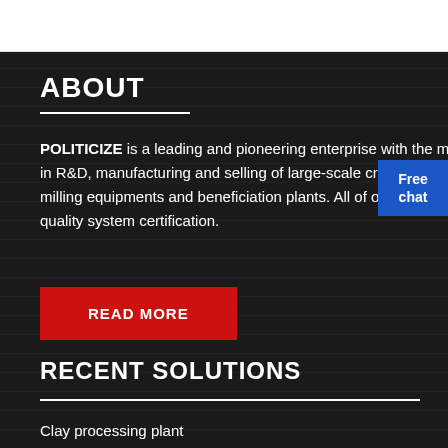ABOUT
POLITICIZE is a leading and pioneering enterprise with the most advanced international level in R&D, manufacturing and selling of large-scale crushing & screening plants,industrial milling equipments and beneficiation plants. All of our equipment have got ISO international quality system certification.
READ MORE
RECENT SOLUTIONS
Clay processing plant